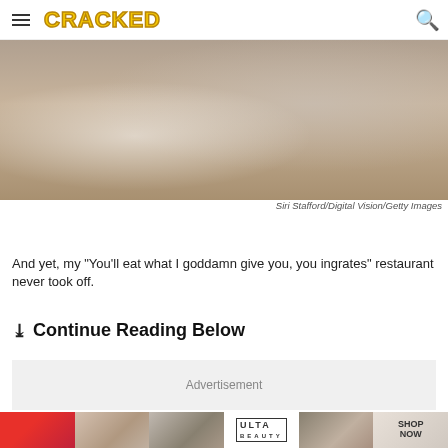CRACKED
[Figure (photo): A restaurant table setting with plates, glasses, and cutlery on a white tablecloth]
Siri Stafford/Digital Vision/Getty Images
And yet, my "You'll eat what I goddamn give you, you ingrates" restaurant never took off.
❯❯ Continue Reading Below
Advertisement
[Figure (photo): ULTA beauty advertisement banner with makeup images and SHOP NOW call to action]